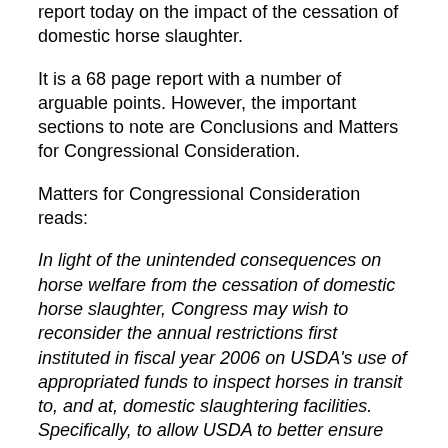report today on the impact of the cessation of domestic horse slaughter.
It is a 68 page report with a number of arguable points. However, the important sections to note are Conclusions and Matters for Congressional Consideration.
Matters for Congressional Consideration reads:
In light of the unintended consequences on horse welfare from the cessation of domestic horse slaughter, Congress may wish to reconsider the annual restrictions first instituted in fiscal year 2006 on USDA's use of appropriated funds to inspect horses in transit to, and at, domestic slaughtering facilities. Specifically, to allow USDA to better ensure horse welfare and identify potential violations of the Commercial Transportation of Equines to Slaughter regulation. Congress may wish to consider